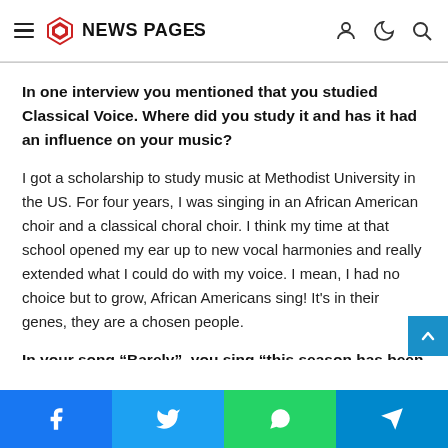NEWS PAGES
In one interview you mentioned that you studied Classical Voice. Where did you study it and has it had an influence on your music?
I got a scholarship to study music at Methodist University in the US. For four years, I was singing in an African American choir and a classical choral choir. I think my time at that school opened my ear up to new vocal harmonies and really extended what I could do with my voice. I mean, I had no choice but to grow, African Americans sing! It's in their genes, they are a chosen people.
In your song “Barely”, you sing “this season has been